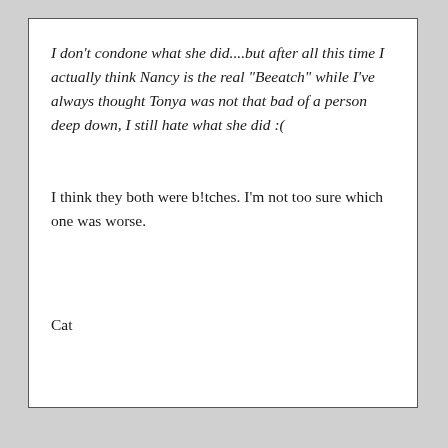I don't condone what she did....but after all this time I actually think Nancy is the real "Beeatch" while I've always thought Tonya was not that bad of a person deep down, I still hate what she did :(
I think they both were b!tches. I'm not too sure which one was worse.
Cat